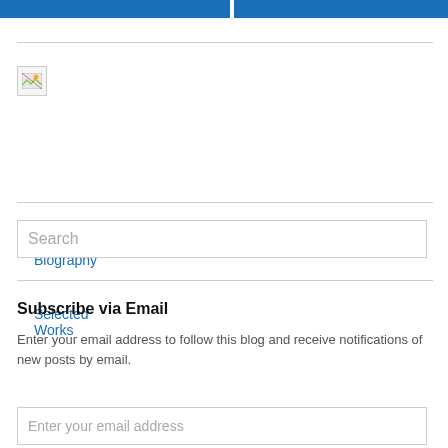[Figure (other): Two blue navigation bars at top of page]
[Figure (photo): Broken/missing image placeholder icon]
Faculty Biography
Selected Works
Search
Subscribe via Email
Enter your email address to follow this blog and receive notifications of new posts by email.
Enter your email address